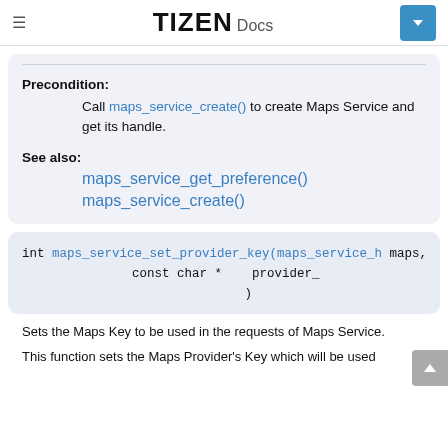TIZEN Docs
Precondition:
Call maps_service_create() to create Maps Service and get its handle.
See also:
maps_service_get_preference()
maps_service_create()
int maps_service_set_provider_key(maps_service_h maps, const char * provider_ )
Sets the Maps Key to be used in the requests of Maps Service.
This function sets the Maps Provider's Key which will be used